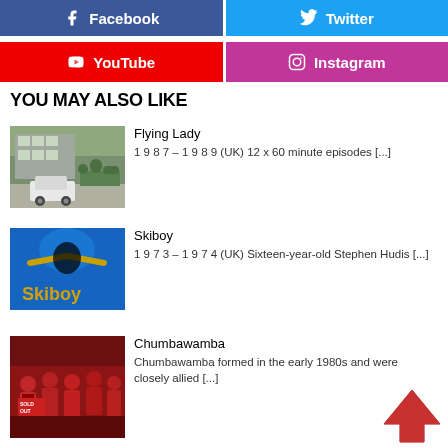[Figure (infographic): Social share buttons: Facebook (blue), Twitter (light blue), YouTube (red), Instagram (pink/magenta)]
YOU MAY ALSO LIKE
[Figure (photo): Flying Lady thumbnail - house and white car on street]
Flying Lady
1 9 8 7 – 1 9 8 9 (UK) 12 x 60 minute episodes [...]
[Figure (photo): Skiboy thumbnail - blue background with Skiboy logo and skier silhouette]
Skiboy
1 9 7 3 – 1 9 7 4 (UK) Sixteen-year-old Stephen Hudis [...]
[Figure (photo): Chumbawamba thumbnail - group of people in red shirts]
Chumbawamba
Chumbawamba formed in the early 1980s and were closely allied [...]